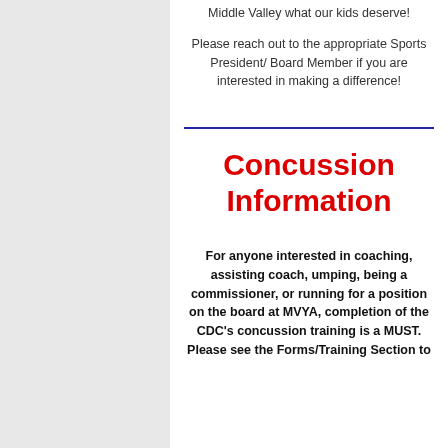Middle Valley what our kids deserve!
Please reach out to the appropriate Sports President/ Board Member if you are interested in making a difference!
Concussion Information
For anyone interested in coaching, assisting coach, umping, being a commissioner, or running for a position on the board at MVYA, completion of the CDC's concussion training is a MUST. Please see the Forms/Training Section to